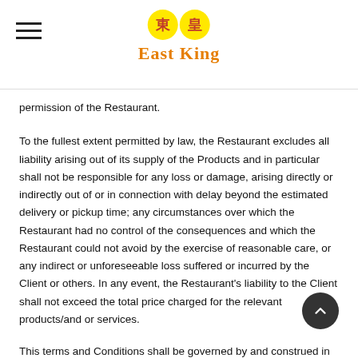East King
permission of the Restaurant.
To the fullest extent permitted by law, the Restaurant excludes all liability arising out of its supply of the Products and in particular shall not be responsible for any loss or damage, arising directly or indirectly out of or in connection with delay beyond the estimated delivery or pickup time; any circumstances over which the Restaurant had no control of the consequences and which the Restaurant could not avoid by the exercise of reasonable care, or any indirect or unforeseeable loss suffered or incurred by the Client or others. In any event, the Restaurant's liability to the Client shall not exceed the total price charged for the relevant products/and or services.
This terms and Conditions shall be governed by and construed in accordance with the laws of the country in which the Restaurant is headquartered and the Restaurant and any dispute arising out of or in connection with these shall be settled by the competent